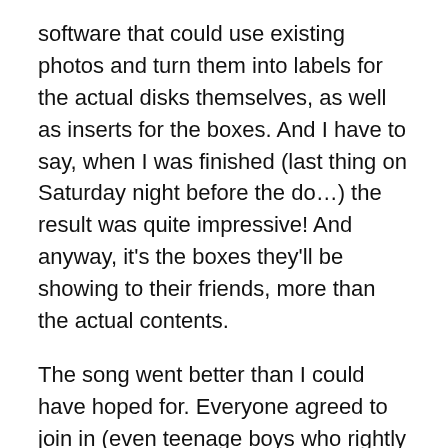software that could use existing photos and turn them into labels for the actual disks themselves, as well as inserts for the boxes. And I have to say, when I was finished (last thing on Saturday night before the do…) the result was quite impressive! And anyway, it's the boxes they'll be showing to their friends, more than the actual contents.
The song went better than I could have hoped for. Everyone agreed to join in (even teenage boys who rightly pointed out that it was cheesy and stupid). Dr Drama waved her magic theatrical wand and sorted out harmonies and intros, and absolutely vetoed use of tambourine (too Sally Army). We were just getting ready to perform, using the ruse that I was going to recite a pome, when the photographer arrived! We hastily stashed the guitar behind the sofa, posed outside for photos, and then waited for him to leave, while my Dad kept topping up his